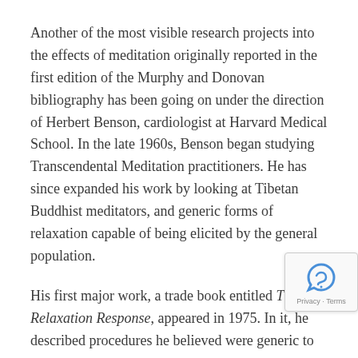Another of the most visible research projects into the effects of meditation originally reported in the first edition of the Murphy and Donovan bibliography has been going on under the direction of Herbert Benson, cardiologist at Harvard Medical School. In the late 1960s, Benson began studying Transcendental Meditation practitioners. He has since expanded his work by looking at Tibetan Buddhist meditators, and generic forms of relaxation capable of being elicited by the general population.
His first major work, a trade book entitled The Relaxation Response, appeared in 1975. In it, he described procedures he believed were generic to